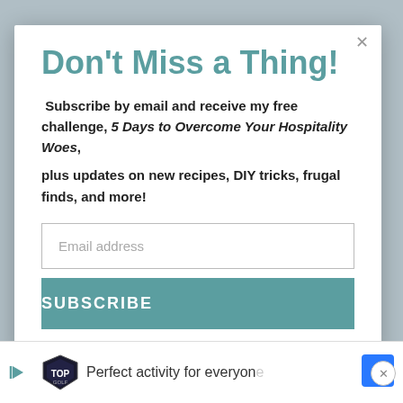Don't Miss a Thing!
Subscribe by email and receive my free challenge, 5 Days to Overcome Your Hospitality Woes, plus updates on new recipes, DIY tricks, frugal finds, and more!
[Figure (screenshot): Email address input field with placeholder text 'Email address']
[Figure (screenshot): Subscribe button with teal background and white uppercase text 'SUBSCRIBE']
[Figure (screenshot): Advertisement bar at bottom with TopGolf logo, play button, text 'Perfect activity for everyone', navigation arrow icon, and close button]